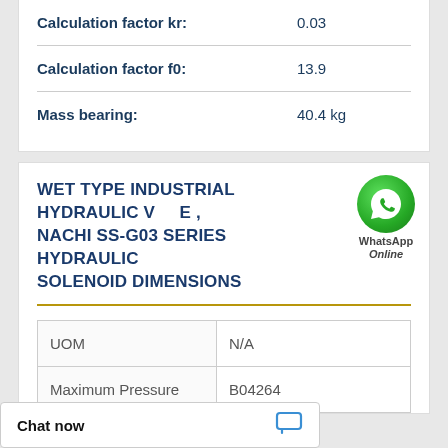| Calculation factor kr: | 0.03 |
| Calculation factor f0: | 13.9 |
| Mass bearing: | 40.4 kg |
WET TYPE INDUSTRIAL HYDRAULIC VALVE , NACHI SS-G03 SERIES HYDRAULIC SOLENOID DIMENSIONS
| UOM | N/A |
| --- | --- |
| Maximum Pressure | B04264 |